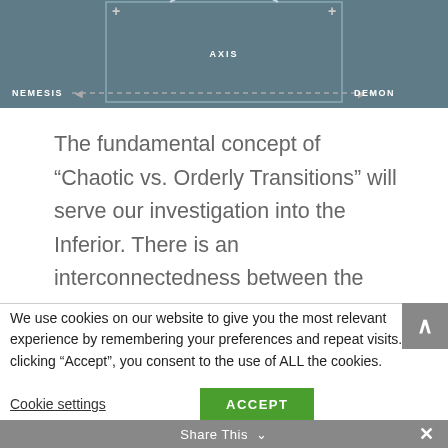[Figure (schematic): Diagram strip showing AXIS label in center, NEMESIS on left, DEMON on right, with dashed horizontal line, plus signs, and a circular arc at top center, all on a dark teal/gray background.]
The fundamental concept of “Chaotic vs. Orderly Transitions” will serve our investigation into the Inferior. There is an interconnectedness between the functions that is revealed through Cognitive Axis and Cognitive Orbit.
We use cookies on our website to give you the most relevant experience by remembering your preferences and repeat visits. By clicking “Accept”, you consent to the use of ALL the cookies.
Cookie settings
ACCEPT
Share This ∨